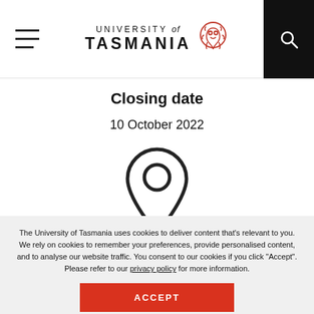University of Tasmania
Closing date
10 October 2022
[Figure (illustration): Location pin / map marker icon in outline style, dark stroke on white background]
The University of Tasmania uses cookies to deliver content that's relevant to you. We rely on cookies to remember your preferences, provide personalised content, and to analyse our website traffic. You consent to our cookies if you click "Accept". Please refer to our privacy policy for more information.
ACCEPT